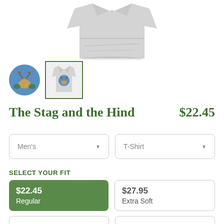[Figure (photo): Product shot of a folded grey t-shirt on a white background]
[Figure (photo): Thumbnail 1: circular badge with stag and hind illustration on blue background]
[Figure (photo): Thumbnail 2: selected thumbnail showing grey t-shirt with stag and hind design, highlighted with green border]
The Stag and the Hind   $22.45
Men's (dropdown)
T-Shirt (dropdown)
SELECT YOUR FIT
$22.45
Regular
$27.95
Extra Soft